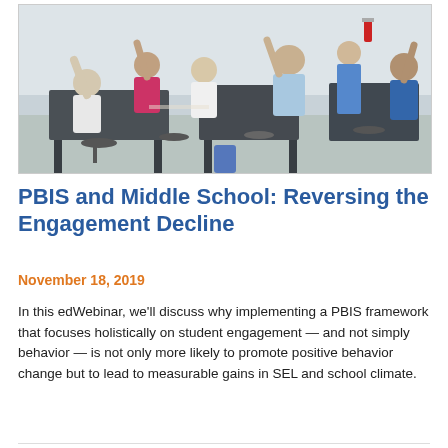[Figure (photo): Classroom photo showing students with raised hands seated at dark lab benches, viewed from behind, with a teacher visible in the background.]
PBIS and Middle School: Reversing the Engagement Decline
November 18, 2019
In this edWebinar, we'll discuss why implementing a PBIS framework that focuses holistically on student engagement — and not simply behavior — is not only more likely to promote positive behavior change but to lead to measurable gains in SEL and school climate.